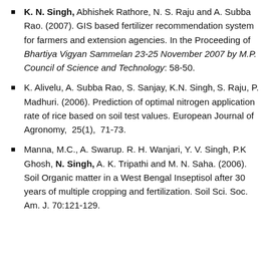K. N. Singh, Abhishek Rathore, N. S. Raju and A. Subba Rao. (2007). GIS based fertilizer recommendation system for farmers and extension agencies. In the Proceeding of Bhartiya Vigyan Sammelan 23-25 November 2007 by M.P. Council of Science and Technology: 58-50.
K. Alivelu, A. Subba Rao, S. Sanjay, K.N. Singh, S. Raju, P. Madhuri. (2006). Prediction of optimal nitrogen application rate of rice based on soil test values. European Journal of Agronomy, 25(1), 71-73.
Manna, M.C., A. Swarup. R. H. Wanjari, Y. V. Singh, P.K Ghosh, N. Singh, A. K. Tripathi and M. N. Saha. (2006). Soil Organic matter in a West Bengal Inseptisol after 30 years of multiple cropping and fertilization. Soil Sci. Soc. Am. J. 70:121-129.